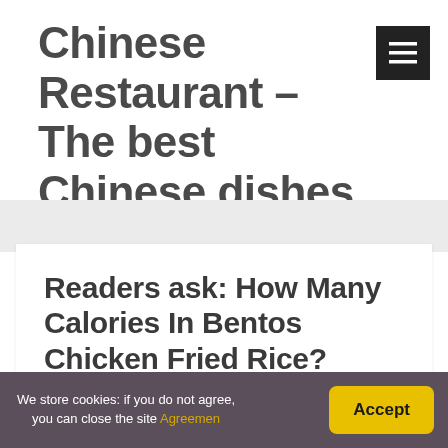Chinese Restaurant – The best Chinese dishes
Readers ask: How Many Calories In Bentos Chicken Fried Rice?
We store cookies: if you do not agree, you can close the site Agreemen